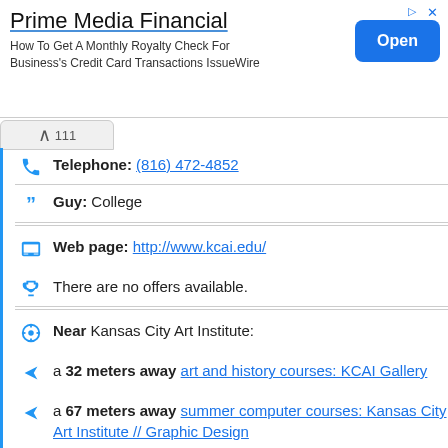[Figure (screenshot): Advertisement banner for Prime Media Financial with 'Open' button]
Prime Media Financial
How To Get A Monthly Royalty Check For Business's Credit Card Transactions IssueWire
Telephone: (816) 472-4852
Guy: College
Web page: http://www.kcai.edu/
There are no offers available.
Near Kansas City Art Institute:
a 32 meters away art and history courses: KCAI Gallery
a 67 meters away summer computer courses: Kansas City Art Institute // Graphic Design
Are you the owner of the business? PROMOTE IT!